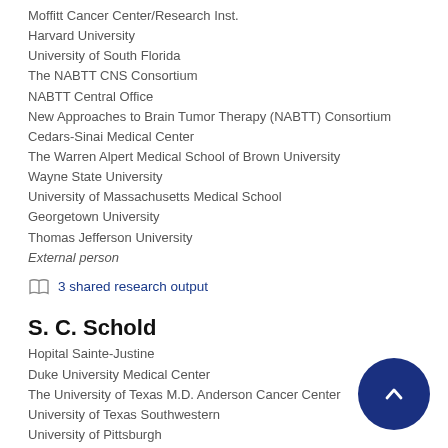Moffitt Cancer Center/Research Inst.
Harvard University
University of South Florida
The NABTT CNS Consortium
NABTT Central Office
New Approaches to Brain Tumor Therapy (NABTT) Consortium
Cedars-Sinai Medical Center
The Warren Alpert Medical School of Brown University
Wayne State University
University of Massachusetts Medical School
Georgetown University
Thomas Jefferson University
External person
3 shared research output
S. C. Schold
Hopital Sainte-Justine
Duke University Medical Center
The University of Texas M.D. Anderson Cancer Center
University of Texas Southwestern
University of Pittsburgh
Southwestern Medical Center
Box 2016